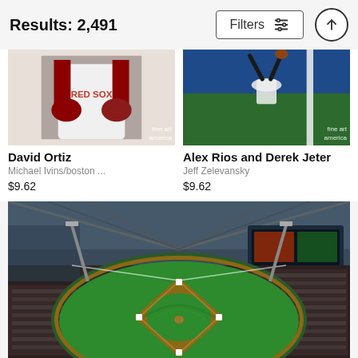Results: 2,491
[Figure (screenshot): Filters button with sliders icon]
[Figure (photo): David Ortiz baseball photo - player holding bat in red uniform]
David Ortiz
Michael Ivins/boston ...
$9.62
[Figure (photo): Alex Rios and Derek Jeter baseball photo - player diving/jumping near wall]
Alex Rios and Derek Jeter
Jeff Zelevansky
$9.62
[Figure (photo): Aerial view of a baseball stadium (Minute Maid Park Houston) with retractable roof, full crowd, green field diamond visible]